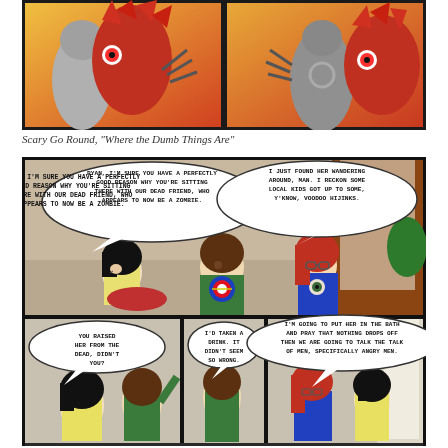[Figure (illustration): Top comic strip panel showing two side-by-side frames from Scary Go Round featuring monster/creature characters with claws and red hair against an orange/yellow background]
Scary Go Round, "Where the Dumb Things Are"
[Figure (illustration): Bottom comic strip panel from Scary Go Round showing two rows of frames. Top row: three characters sitting together with speech bubbles. Character on left says 'RYAN, I'M SURE YOU HAVE A PERFECTLY GOOD REASON WHY YOU'RE SITTING THERE WITH OUR DEAD FRIEND, WHO APPEARS TO NOW BE A ZOMBIE.' Character on right says 'I JUST FOUND HER WANDERING AROUND, MAN. I RECKON SOME LOCAL KIDS GOT UP TO SOME, Y'KNOW, VOODOO HIJINKS.' Bottom row: three panels with speech bubbles. Left: 'YOU RAISED HER FROM THE DEAD, DIDN'T YOU?' Middle: 'I'D TAKEN A DRINK. IT DIDN'T SEEM SO WRONG.' Right: 'I'M GOING TO PUT HER IN THE BATH AND PRAY THAT NOTHING DROPS OFF THEN WE ARE GOING TO TALK THE TALK OF MEN, SPECIFICALLY ANGRY MEN.']